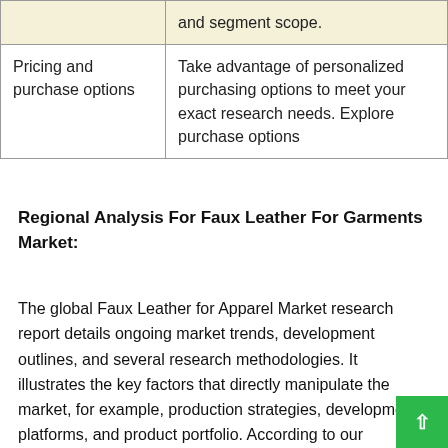|  |  |
| --- | --- |
|  | and segment scope. |
| Pricing and purchase options | Take advantage of personalized purchasing options to meet your exact research needs. Explore purchase options |
Regional Analysis For Faux Leather For Garments Market:
The global Faux Leather for Apparel Market research report details ongoing market trends, development outlines, and several research methodologies. It illustrates the key factors that directly manipulate the market, for example, production strategies, development platforms, and product portfolio. According to our researchers, even minor changes in product profiles could lead to huge disruptions in the factors